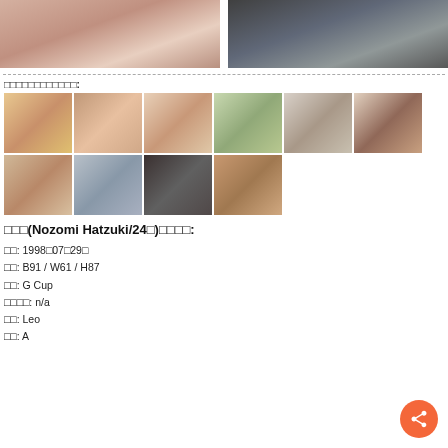[Figure (photo): Two portrait photos side by side at top of page]
□□□□□□□□□□□□:
[Figure (photo): Grid of 10 portrait thumbnail photos, 2 rows]
□□□(Nozomi Hatzuki/24□)□□□□:
□□: 1998□07□29□
□□: B91 / W61 / H87
□□: G Cup
□□□□: n/a
□□: Leo
□□: A